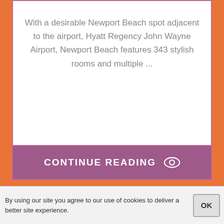With a desirable Newport Beach spot adjacent to the airport, Hyatt Regency John Wayne Airport, Newport Beach features 343 stylish rooms and multiple ...
CONTINUE READING
Pittsburgh Meeting Space | Hyatt Regency Pittsburgh International ...
Meetings. Get inspired and connected in our innovative Pittsburgh meeting rooms, only steps from the Airport, and the largest ballroom in ...
By using our site you agree to our use of cookies to deliver a better site experience.